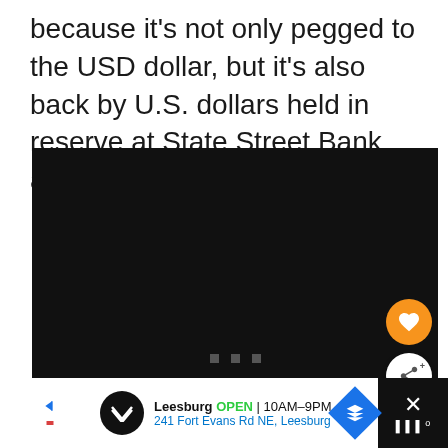because it's not only pegged to the USD dollar, but it's also back by U.S. dollars held in reserve at State Street Bank and Trust Company.
[Figure (screenshot): Dark/black video player area with loading dots indicator, a heart (favorite) button and a share button on the right side]
[Figure (infographic): Advertisement bar at the bottom showing Leesburg store: OPEN 10AM-9PM, 241 Fort Evans Rd NE, Leesburg, with navigation button and close button]